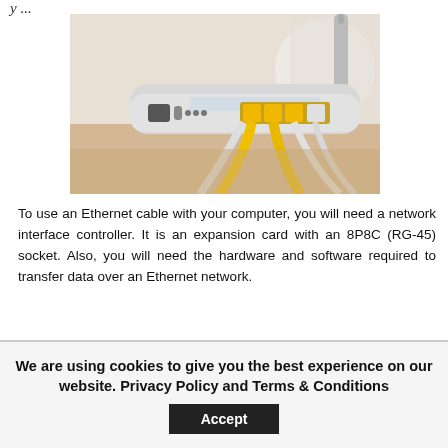y...
[Figure (photo): Back of a white WiFi router with yellow and white Ethernet cables plugged into its ports, placed on a wooden surface with an antenna visible.]
To use an Ethernet cable with your computer, you will need a network interface controller. It is an expansion card with an 8P8C (RG-45) socket. Also, you will need the hardware and software required to transfer data over an Ethernet network.
We are using cookies to give you the best experience on our website. Privacy Policy and Terms & Conditions
Accept